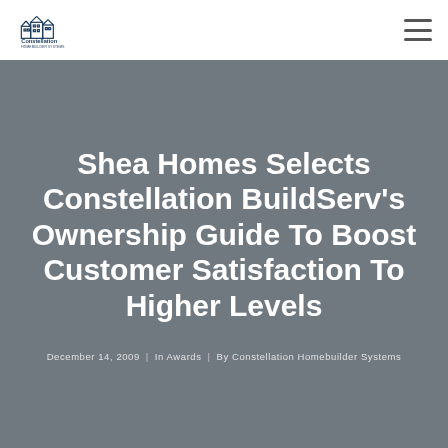[Figure (logo): Constellation Homebuilder Systems logo — building silhouette outline above text 'Constellation HOMEBUILDER SYSTEMS']
Shea Homes Selects Constellation BuildServ's Ownership Guide To Boost Customer Satisfaction To Higher Levels
December 14, 2009  |  In Awards  |  By Constellation Homebuilder Systems